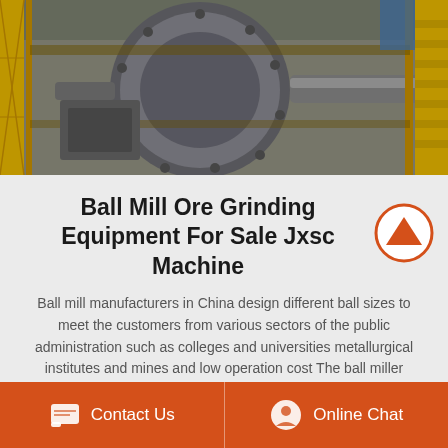[Figure (photo): Industrial ball mill ore grinding equipment with yellow scaffolding, metal cylinders, pipes, and industrial machinery in a mining or processing facility]
Ball Mill Ore Grinding Equipment For Sale Jxsc Machine
Ball mill manufacturers in China design different ball sizes to meet the customers from various sectors of the public administration such as colleges and universities metallurgical institutes and mines and low operation cost The ball miller machine is a tumbling mill that uses steel milling…
Read More >
Contact Us | Online Chat